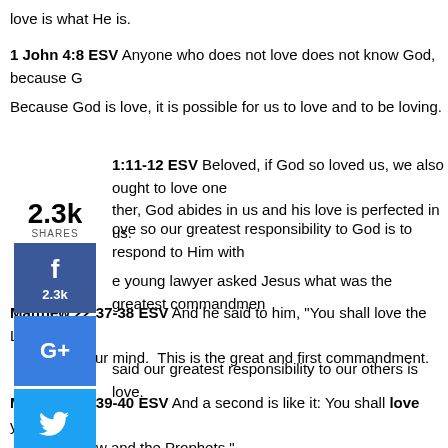love is what He is.
1 John 4:8 ESV Anyone who does not love does not know God, because G
Because God is love, it is possible for us to love and to be loving.
1:11-12 ESV Beloved, if God so loved us, we also ought to love one another. God abides in us and his love is perfected in us.
ove so our greatest responsibility to God is to respond to Him with
e young lawyer asked Jesus what was the greatest commandmen
Matthew 22:37-38 ESV And he said to him, "You shall love the Lord you... all your mind. This is the great and first commandment.
said our greatest responsibility to our others is love.
Matthew 22:39-40 ESV And a second is like it: You shall love your neigh... all the Law and the Prophets."